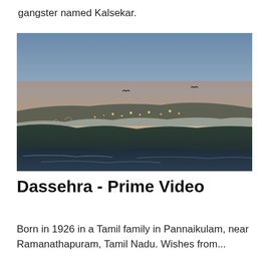gangster named Kalsekar.
[Figure (photo): Coastal ocean scene at sunset or dusk. Large dark waves in the foreground, a hazy coastline with scattered lights in the middle distance, and a gradient sky transitioning from deep blue-grey at the top to warm orange and amber near the horizon. Two birds are visible in silhouette against the sky.]
Dassehra - Prime Video
Born in 1926 in a Tamil family in Pannaikulam, near Ramanathapuram, Tamil Nadu. Wishes from...